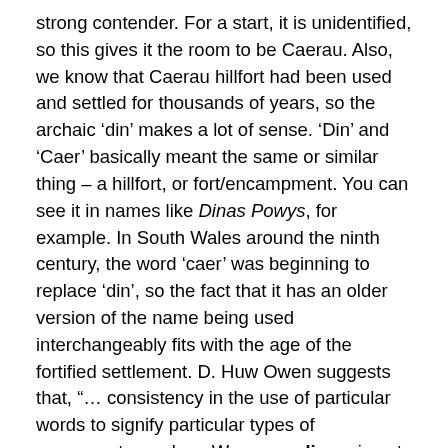strong contender. For a start, it is unidentified, so this gives it the room to be Caerau. Also, we know that Caerau hillfort had been used and settled for thousands of years, so the archaic ‘din’ makes a lot of sense. ‘Din’ and ‘Caer’ basically meant the same or similar thing – a hillfort, or fort/encampment. You can see it in names like Dinas Powys, for example. In South Wales around the ninth century, the word ‘caer’ was beginning to replace ‘din’, so the fact that it has an older version of the name being used interchangeably fits with the age of the fortified settlement. D. Huw Owen suggests that, “… consistency in the use of particular words to signify particular types of monuments, such as W caer or dinas, is not to be expected.” – See, D. Huw Owen, Settlement and Society in Wales, (University of Chicago Press, 1989), p. 83.
What is harder to ascertain is what ‘Cairdyici’ means. Cair